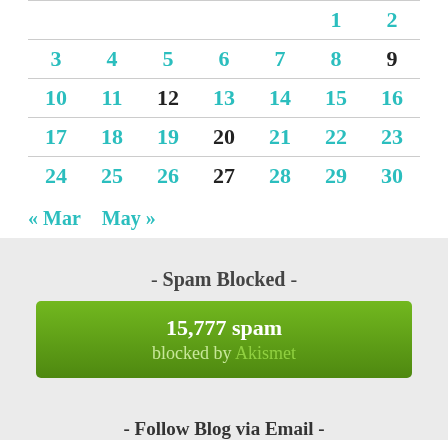| Sun | Mon | Tue | Wed | Thu | Fri | Sat |
| --- | --- | --- | --- | --- | --- | --- |
|  |  |  |  |  | 1 | 2 |
| 3 | 4 | 5 | 6 | 7 | 8 | 9 |
| 10 | 11 | 12 | 13 | 14 | 15 | 16 |
| 17 | 18 | 19 | 20 | 21 | 22 | 23 |
| 24 | 25 | 26 | 27 | 28 | 29 | 30 |
« Mar   May »
- Spam Blocked -
15,777 spam blocked by Akismet
- Follow Blog via Email -